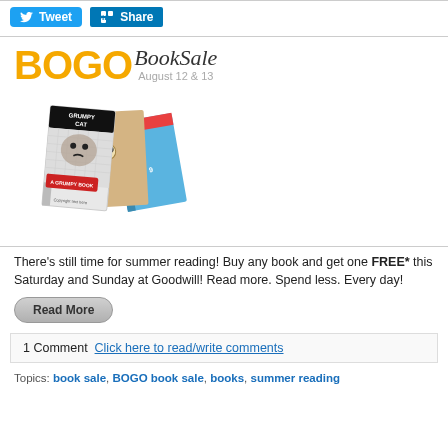[Figure (screenshot): Tweet and LinkedIn Share buttons]
[Figure (illustration): BOGO Book Sale advertisement with books including Grumpy Cat book, dated August 12 & 13]
There's still time for summer reading! Buy any book and get one FREE* this Saturday and Sunday at Goodwill! Read more. Spend less. Every day!
[Figure (other): Read More button]
1 Comment Click here to read/write comments
Topics: book sale, BOGO book sale, books, summer reading